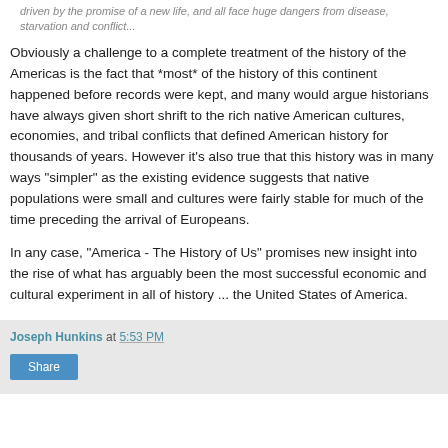driven by the promise of a new life, and all face huge dangers from disease, starvation and conflict...
Obviously a challenge to a complete treatment of the history of the Americas is the fact that *most* of the history of this continent happened before records were kept, and many would argue historians have always given short shrift to the rich native American cultures, economies, and tribal conflicts that defined American history for thousands of years. However it's also true that this history was in many ways "simpler" as the existing evidence suggests that native populations were small and cultures were fairly stable for much of the time preceding the arrival of Europeans.
In any case, "America - The History of Us" promises new insight into the rise of what has arguably been the most successful economic and cultural experiment in all of history ... the United States of America.
Joseph Hunkins at 5:53 PM
Share